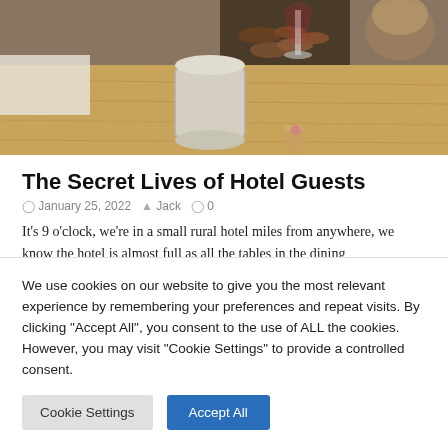[Figure (photo): Photo of a wooden dining table with a ceramic mug, wine glass with red wine, wine cork, and a fireplace with stacked wood in the background.]
The Secret Lives of Hotel Guests
January 25, 2022  Jack  0
It's 9 o'clock, we're in a small rural hotel miles from anywhere, we know the hotel is almost full as all the tables in the dining
We use cookies on our website to give you the most relevant experience by remembering your preferences and repeat visits. By clicking "Accept All", you consent to the use of ALL the cookies. However, you may visit "Cookie Settings" to provide a controlled consent.